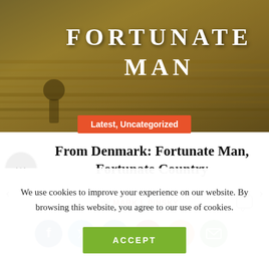[Figure (photo): Book cover or article hero image showing a golden field with text 'FORTUNATE MAN' overlaid in large serif letters]
Latest, Uncategorized
From Denmark: Fortunate Man, Fortunate Country
BY MARK I. PINSKY
[Figure (infographic): Row of social sharing icons: Facebook (dark blue), Twitter (light blue), LinkedIn (teal), Pinterest (dark red), Print (orange), Email (green)]
We use cookies to improve your experience on our website. By browsing this website, you agree to our use of cookies.
ACCEPT